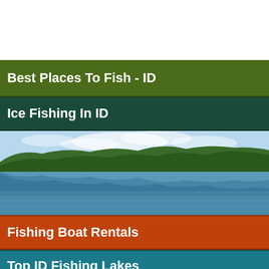Best Places To Fish - ID
Ice Fishing In ID
[Figure (photo): Scenic lake with forested hills and reflections on calm water under a partly cloudy sky]
Fishing Boat Rentals
Top ID Fishing Lakes